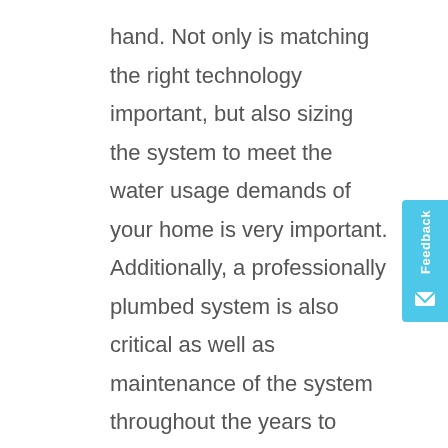hand. Not only is matching the right technology important, but also sizing the system to meet the water usage demands of your home is very important. Additionally, a professionally plumbed system is also critical as well as maintenance of the system throughout the years to optimize the useful life and proper functioning of your new equipment.

While symptoms of water quality issues such as bad odors & taste, staining of laundry, bathroom fixtures, etc. are indicators of problems, the preferred starting point is to get